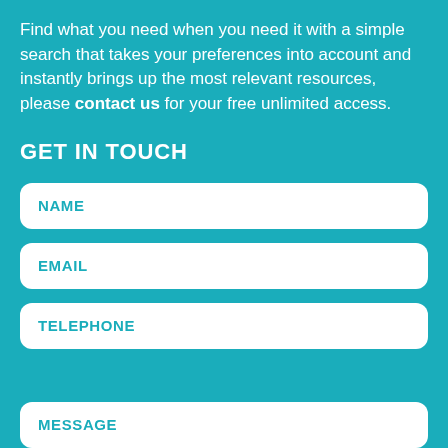Find what you need when you need it with a simple search that takes your preferences into account and instantly brings up the most relevant resources, please contact us for your free unlimited access.
GET IN TOUCH
NAME
EMAIL
TELEPHONE
MESSAGE